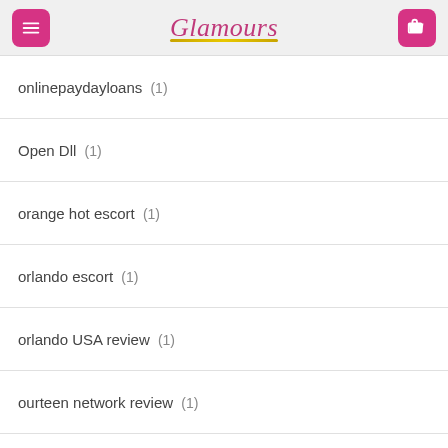Glamours
onlinepaydayloans (1)
Open Dll (1)
orange hot escort (1)
orlando escort (1)
orlando USA review (1)
ourteen network review (1)
ourteennetwork-inceleme visitors (1)
ourtime App (1)
Ourtime rencontre (1)
outpersonals review (1)